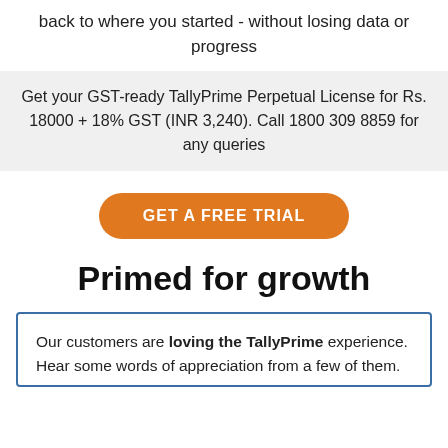back to where you started - without losing data or progress
Get your GST-ready TallyPrime Perpetual License for Rs. 18000 + 18% GST (INR 3,240). Call 1800 309 8859 for any queries
GET A FREE TRIAL
Primed for growth
Our customers are loving the TallyPrime experience. Hear some words of appreciation from a few of them.